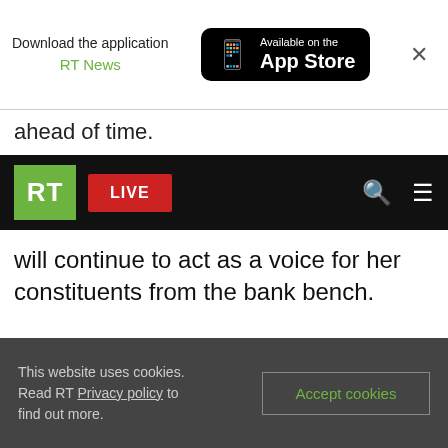[Figure (screenshot): App download banner showing 'Download the application RT News' and 'Available on the App Store' badge with phone icon, and a close (X) button]
ahead of time.
[Figure (screenshot): RT website navigation bar with green RT logo, red LIVE button, search icon, and hamburger menu icon on black background]
will continue to act as a voice for her constituents from the bank bench.
[Figure (screenshot): Black video embed placeholder with 'READ MORE: Palestinians see Priti Patel's' text at the bottom in white]
This website uses cookies. Read RT Privacy policy to find out more.